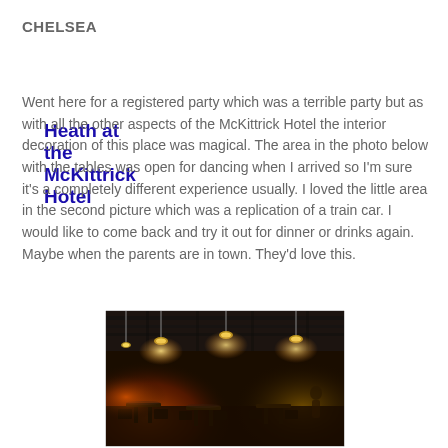CHELSEA
Heath at the McKittrick Hotel
Went here for a registered party which was a terrible party but as with all the other aspects of the McKittrick Hotel the interior decoration of this place was magical.  The area in the photo below with the tables was open for dancing when I arrived so I'm sure it's a completely different experience usually.  I loved the little area in the second picture which was a replication of a train car.  I would like to come back and try it out for dinner or drinks again.  Maybe when the parents are in town.  They'd love this.
[Figure (photo): Interior of the McKittrick Hotel showing a large dimly lit room with hanging pendant lights, tables and chairs, and warm amber/orange lighting in the background suggesting a bar or stage area.]